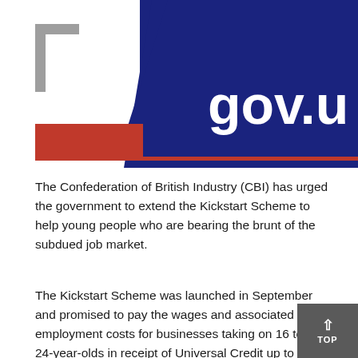[Figure (logo): gov.uk logo with dark navy blue diagonal background, red rectangle element, and grey corner bracket marks. Text 'gov.u' visible (partially cropped).]
The Confederation of British Industry (CBI) has urged the government to extend the Kickstart Scheme to help young people who are bearing the brunt of the subdued job market.
The Kickstart Scheme was launched in September and promised to pay the wages and associated employment costs for businesses taking on 16 to 24-year-olds in receipt of Universal Credit up to six-month contract periods.